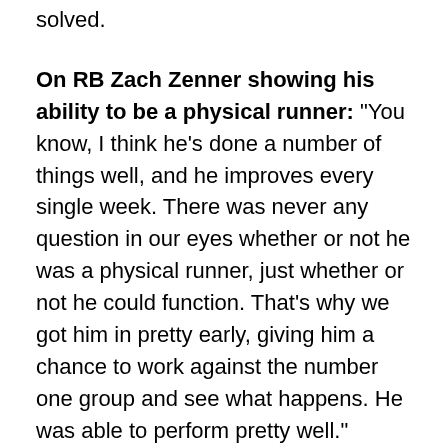solved.
On RB Zach Zenner showing his ability to be a physical runner: "You know, I think he's done a number of things well, and he improves every single week. There was never any question in our eyes whether or not he was a physical runner, just whether or not he could function. That's why we got him in pretty early, giving him a chance to work against the number one group and see what happens. He was able to perform pretty well."
On RB Ameer Abdullah's lack of carries being a sign of comfort with the coaching staff: "Probably more a sign that there's only one ball and it gets spread around a little bit. You can come out of a game not exactly knowing what your intentions were in terms